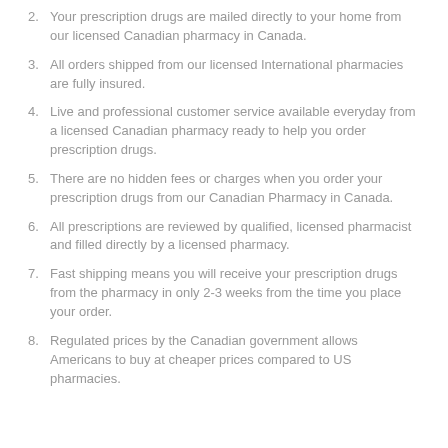2. Your prescription drugs are mailed directly to your home from our licensed Canadian pharmacy in Canada.
3. All orders shipped from our licensed International pharmacies are fully insured.
4. Live and professional customer service available everyday from a licensed Canadian pharmacy ready to help you order prescription drugs.
5. There are no hidden fees or charges when you order your prescription drugs from our Canadian Pharmacy in Canada.
6. All prescriptions are reviewed by qualified, licensed pharmacist and filled directly by a licensed pharmacy.
7. Fast shipping means you will receive your prescription drugs from the pharmacy in only 2-3 weeks from the time you place your order.
8. Regulated prices by the Canadian government allows Americans to buy at cheaper prices compared to US pharmacies.